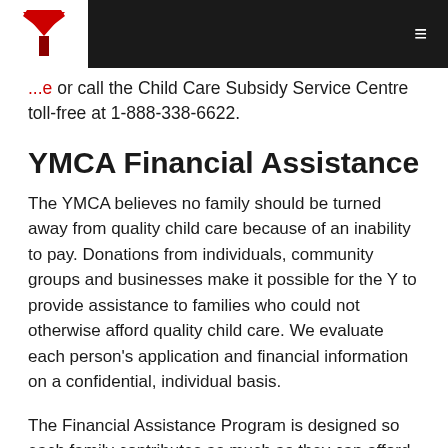YMCA logo and navigation header
...e or call the Child Care Subsidy Service Centre toll-free at 1-888-338-6622.
YMCA Financial Assistance
The YMCA believes no family should be turned away from quality child care because of an inability to pay. Donations from individuals, community groups and businesses make it possible for the Y to provide assistance to families who could not otherwise afford quality child care. We evaluate each person's application and financial information on a confidential, individual basis.
The Financial Assistance Program is designed so each family contributes as much as they can afford towards the child care program. We will determine a fee based on your circumstances, the level of financial demand from families and the funds